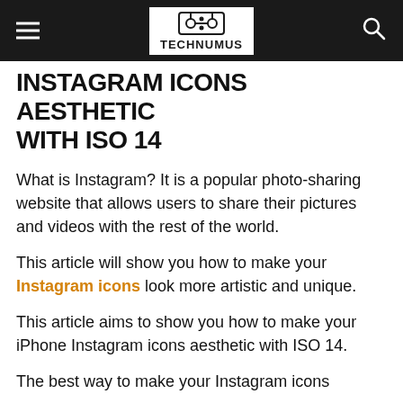TECHNUMUS
INSTAGRAM ICONS AESTHETIC WITH ISO 14
What is Instagram? It is a popular photo-sharing website that allows users to share their pictures and videos with the rest of the world.
This article will show you how to make your Instagram icons look more artistic and unique.
This article aims to show you how to make your iPhone Instagram icons aesthetic with ISO 14.
The best way to make your Instagram icons